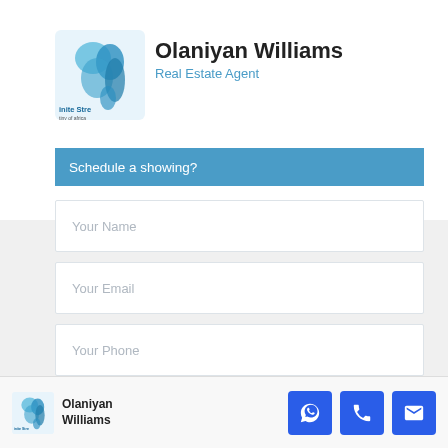[Figure (logo): Infinite Streams company logo with blue cloud/Nigeria map shape]
Olaniyan Williams
Real Estate Agent
Schedule a showing?
Your Name
Your Email
Your Phone
I'm interested in [ 3bd Serviced Flat in Oniru for Sale ]
Olaniyan Williams